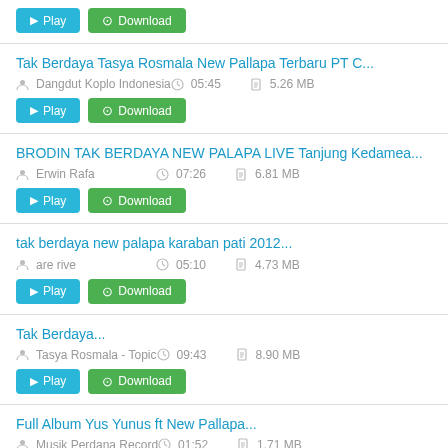Play / Download buttons (top)
Tak Berdaya Tasya Rosmala New Pallapa Terbaru PT C... | Dangdut Koplo Indonesia | 05:45 | 5.26 MB
BRODIN TAK BERDAYA NEW PALAPA LIVE Tanjung Kedamea... | Erwin Rafa | 07:26 | 6.81 MB
tak berdaya new palapa karaban pati 2012... | are rive | 05:10 | 4.73 MB
Tak Berdaya... | Tasya Rosmala - Topic | 09:43 | 8.90 MB
Full Album Yus Yunus ft New Pallapa... | Musik Perdana Record | 01:52 | 1.71 MB